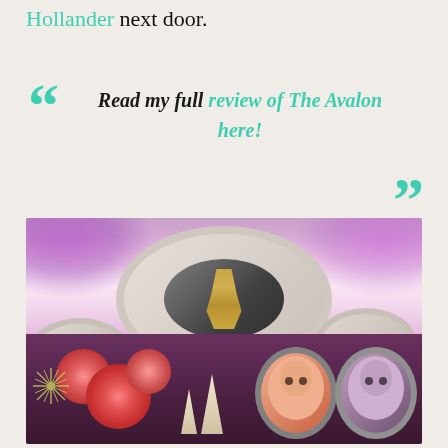Hollander next door.
Read my full review of The Avalon here!
[Figure (photo): Interior photo of a stylish hotel lobby/bar with colorful ceiling featuring large oval white disk fixtures with mirrored centers and purple LED lighting. The walls have pink pom-pom decorations, starburst artwork, cone sculptures, and circular portrait artworks on a deep purple/mauve wall.]